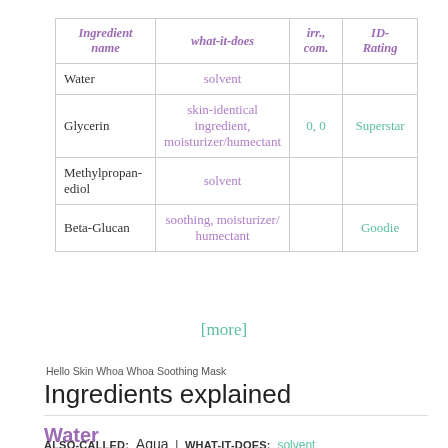| Ingredient name | what-it-does | irr., com. | ID-Rating |
| --- | --- | --- | --- |
| Water | solvent |  |  |
| Glycerin | skin-identical ingredient, moisturizer/humectant | 0, 0 | Superstar |
| Methylpropanediol | solvent |  |  |
| Beta-Glucan | soothing, moisturizer/humectant |  | Goodie |
[more]
Hello Skin Whoa Whoa Soothing Mask
Ingredients explained
Water
ALSO-CALLED: Aqua | WHAT-IT-DOES: solvent